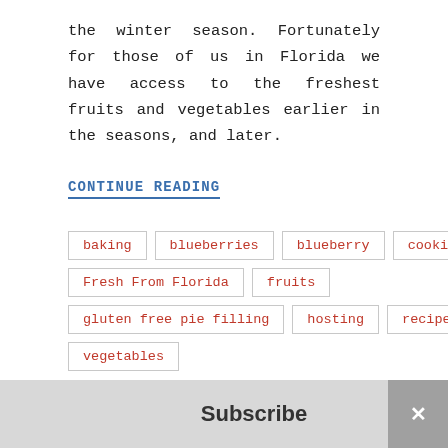the winter season. Fortunately for those of us in Florida we have access to the freshest fruits and vegetables earlier in the seasons, and later.
CONTINUE READING
baking
blueberries
blueberry
cooking
Fresh From Florida
fruits
gluten free pie filling
hosting
recipe
vegetables
Subscribe ×